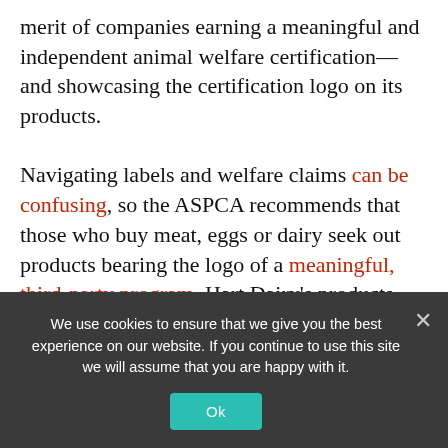merit of companies earning a meaningful and independent animal welfare certification—and showcasing the certification logo on its products.

Navigating labels and welfare claims can be confusing, so the ASPCA recommends that those who buy meat, eggs or dairy seek out products bearing the logo of a meaningful, third-party program. Hart Dairy's products were added to the Shop With Your Heart list
We use cookies to ensure that we give you the best experience on our website. If you continue to use this site we will assume that you are happy with it.